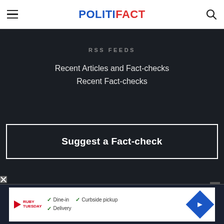POLITIFACT
RSS FEEDS
Recent Articles and Fact-checks
Recent Fact-checks
Suggest a Fact-check
[Figure (screenshot): Advertisement banner for Ruby Tuesday restaurant showing dine-in, curbside pickup, and delivery options with a blue navigation diamond icon.]